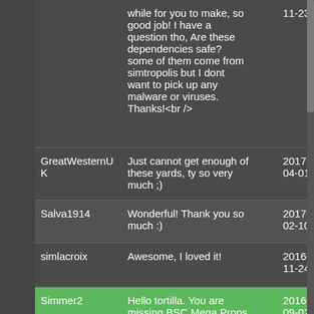while for you to make, so good job! I have a question tho, Are these dependencies safe? some of them come from simtropolis but I dont want to pick up any malware or viruses. Thanks!<br />
GreatWesternUK | Just cannot get enough of these yards, ty so very much ;) | 2017-04-01
Salva1914 | Wonderful! Thank you so much :) | 2017-02-10
simlacroix | Awesome, I loved it! | 2016-11-24
Simmer2 | Hello tortilla. You are missing BSC Mega Props jestarr Vol02. Click on the | 2016-09-02